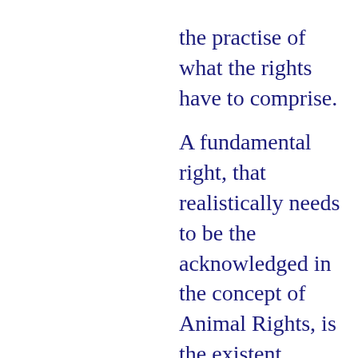the practise of what the rights have to comprise.

A fundamental right, that realistically needs to be the acknowledged in the concept of Animal Rights, is the existent independence of animals towards the human